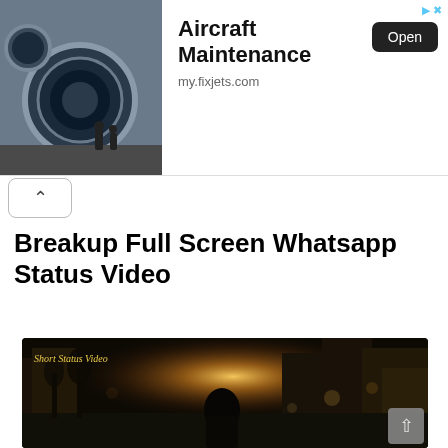[Figure (screenshot): Advertisement banner showing aircraft jet engine with maintenance workers. Text reads 'Aircraft Maintenance', 'my.fixjets.com', with an 'Open' button.]
Breakup Full Screen Whatsapp Status Video
[Figure (photo): Dark moody photo of a lone hooded figure walking on a city street at golden hour with sun flare between buildings. Watermark text 'Short Status Video' in yellow italic.]